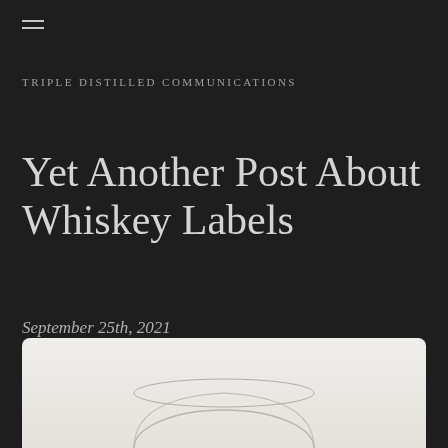TRIPLE DISTILLED COMMUNICATIONS
Yet Another Post About Whiskey Labels
September 25th, 2021
[Figure (photo): A clear whiskey glass on a light neutral background, shown from above with just the rim and upper portion visible]